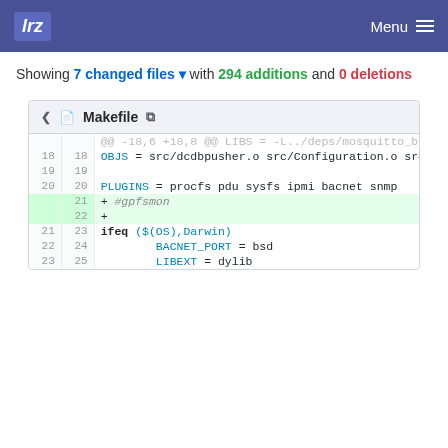lrz   Menu
Showing 7 changed files with 294 additions and 0 deletions
| old | new | code |
| --- | --- | --- |
| ... | ... | @@ -18,6 +18,8 @@ LIBS = -L../deps/mosquitto_build/lib -L$(DCDBDEPLOYPATH)/lib/ -ldl -lmosquitto - |
| 18 | 18 | OBJS = src/dcdbpusher.o src/Configuration.o src/MQTTPusher.o src/HttpsServer.o |
| 19 | 19 |  |
| 20 | 20 | PLUGINS = procfs pdu sysfs ipmi bacnet snmp |
|  | 21 | + #gpfsmon |
|  | 22 | + |
| 21 | 23 | ifeq ($(OS),Darwin) |
| 22 | 24 |         BACNET_PORT = bsd |
| 23 | 25 |         LIBEXT = dylib |